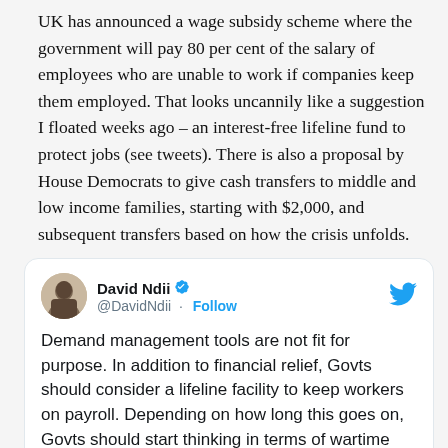UK has announced a wage subsidy scheme where the government will pay 80 per cent of the salary of employees who are unable to work if companies keep them employed. That looks uncannily like a suggestion I floated weeks ago – an interest-free lifeline fund to protect jobs (see tweets). There is also a proposal by House Democrats to give cash transfers to middle and low income families, starting with $2,000, and subsequent transfers based on how the crisis unfolds.
[Figure (screenshot): Embedded tweet from David Ndii (@DavidNdii) with verified badge and Follow button. Tweet text: 'Demand management tools are not fit for purpose. In addition to financial relief, Govts should consider a lifeline facility to keep workers on payroll. Depending on how long this goes on, Govts should start thinking in terms of wartime economic mngment i.e']